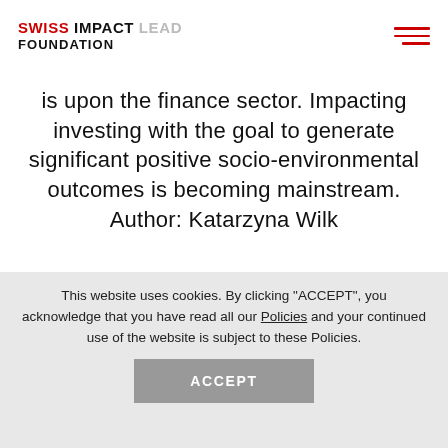SWISS IMPACT LEAD FOUNDATION
is upon the finance sector. Impacting investing with the goal to generate significant positive socio-environmental outcomes is becoming mainstream. Author: Katarzyna Wilk
[Figure (screenshot): Thumbnail preview of a research paper with title, author, and abstract sections visible]
This website uses cookies. By clicking "ACCEPT", you acknowledge that you have read all our Policies and your continued use of the website is subject to these Policies.
ACCEPT